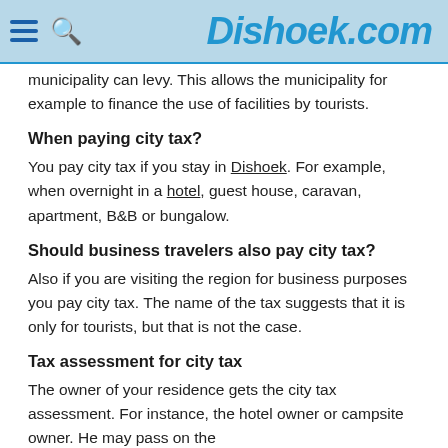Dishoek.com
municipality can levy. This allows the municipality for example to finance the use of facilities by tourists.
When paying city tax?
You pay city tax if you stay in Dishoek. For example, when overnight in a hotel, guest house, caravan, apartment, B&B or bungalow.
Should business travelers also pay city tax?
Also if you are visiting the region for business purposes you pay city tax. The name of the tax suggests that it is only for tourists, but that is not the case.
Tax assessment for city tax
The owner of your residence gets the city tax assessment. For instance, the hotel owner or campsite owner. He may pass on the